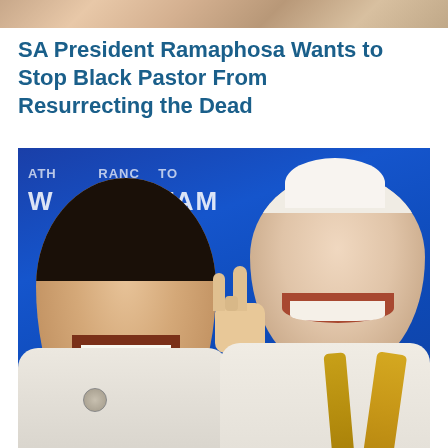[Figure (photo): Top cropped photo strip showing partial image at the top of the page]
SA President Ramaphosa Wants to Stop Black Pastor From Resurrecting the Dead
[Figure (photo): Two men smiling in front of a blue background with text. The man on the left is wearing a white clerical outfit with a cross necklace and a badge. The man on the right is wearing white papal vestments with a gold stole and is making a hand gesture with his fingers raised.]